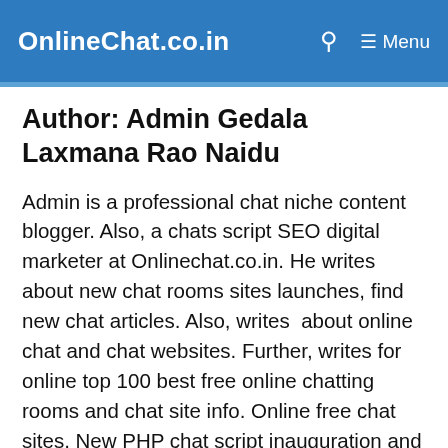OnlineChat.co.in  Menu
Author: Admin Gedala Laxmana Rao Naidu
Admin is a professional chat niche content blogger. Also, a chats script SEO digital marketer at Onlinechat.co.in. He writes about new chat rooms sites launches, find new chat articles. Also, writes  about online chat and chat websites. Further, writes for online top 100 best free online chatting rooms and chat site info. Online free chat sites, New PHP chat script inauguration and technology news are also included. Moreover,